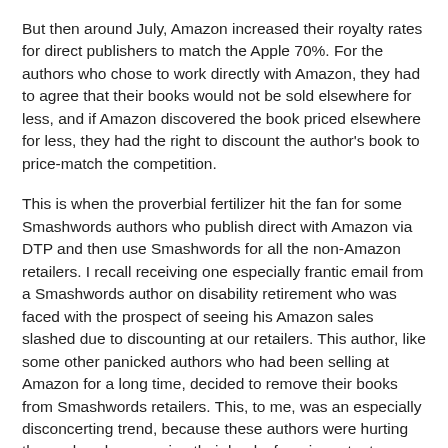But then around July, Amazon increased their royalty rates for direct publishers to match the Apple 70%. For the authors who chose to work directly with Amazon, they had to agree that their books would not be sold elsewhere for less, and if Amazon discovered the book priced elsewhere for less, they had the right to discount the author's book to price-match the competition.
This is when the proverbial fertilizer hit the fan for some Smashwords authors who publish direct with Amazon via DTP and then use Smashwords for all the non-Amazon retailers. I recall receiving one especially frantic email from a Smashwords author on disability retirement who was faced with the prospect of seeing his Amazon sales slashed due to discounting at our retailers. This author, like some other panicked authors who had been selling at Amazon for a long time, decided to remove their books from Smashwords retailers. This, to me, was an especially disconcerting trend, because these authors were hurting themselves by removing their books from important retailers like B&N, Sony and Kobo. Some of these authors even removed their books from our Apple channel, or unpublished their books at